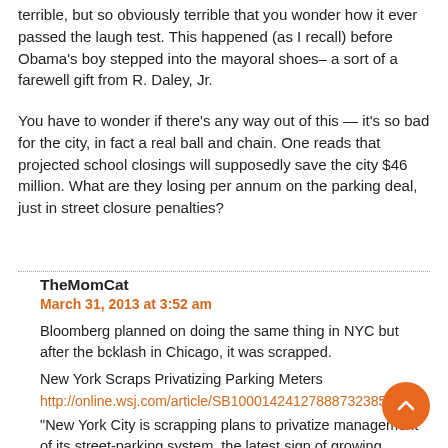terrible, but so obviously terrible that you wonder how it ever passed the laugh test. This happened (as I recall) before Obama's boy stepped into the mayoral shoes– a sort of a farewell gift from R. Daley, Jr.
You have to wonder if there's any way out of this — it's so bad for the city, in fact a real ball and chain. One reads that projected school closings will supposedly save the city $46 million. What are they losing per annum on the parking deal, just in street closure penalties?
TheMomCat
March 31, 2013 at 3:52 am
Bloomberg planned on doing the same thing in NYC but after the bcklash in Chicago, it was scrapped.
New York Scraps Privatizing Parking Meters
http://online.wsj.com/article/SB100014241278873238549​0
“New York City is scrapping plans to privatize management of its street-parking system, the latest sign of growing wariness in U.S. cities of initiatives to address budget woes by selling off the rights to run meters and lots.
The decision by the nation's largest city comes amid a